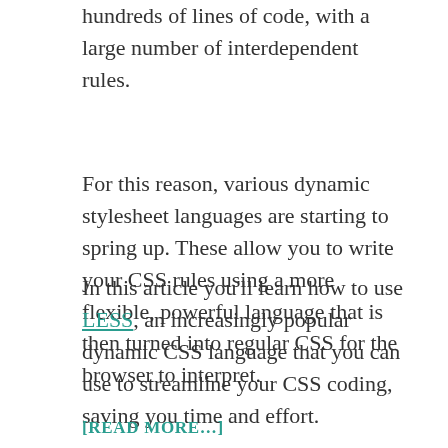hundreds of lines of code, with a large number of interdependent rules.
For this reason, various dynamic stylesheet languages are starting to spring up. These allow you to write your CSS rules using a more flexible, powerful language that is then turned into regular CSS for the browser to interpret.
In this article you’ll learn how to use LESS, an increasingly popular dynamic CSS language that you can use to streamline your CSS coding, saving you time and effort.
[READ MORE...]